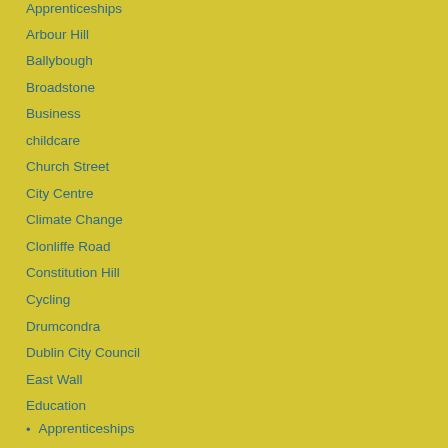Apprenticeships
Arbour Hill
Ballybough
Broadstone
Business
childcare
Church Street
City Centre
Climate Change
Clonliffe Road
Constitution Hill
Cycling
Drumcondra
Dublin City Council
East Wall
Education
Apprenticeships
Employment
environment